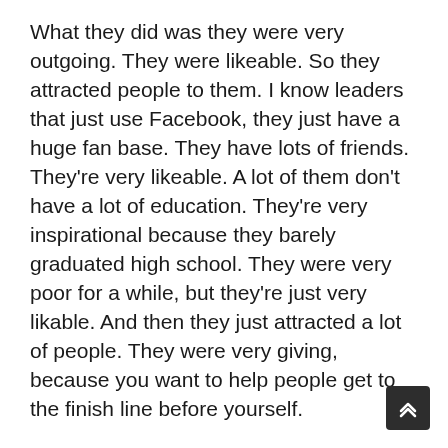What they did was they were very outgoing. They were likeable. So they attracted people to them. I know leaders that just use Facebook, they just have a huge fan base. They have lots of friends. They're very likeable. A lot of them don't have a lot of education. They're very inspirational because they barely graduated high school. They were very poor for a while, but they're just very likable. And then they just attracted a lot of people. They were very giving, because you want to help people get to the finish line before yourself.
You want people to beat you as far as rank advancements in the company, you want to inspire your team. You want to keep them engaged. You want to lock them into a training site, a Facebook private group, where there's training possible. You want to keep them engaged and you want your